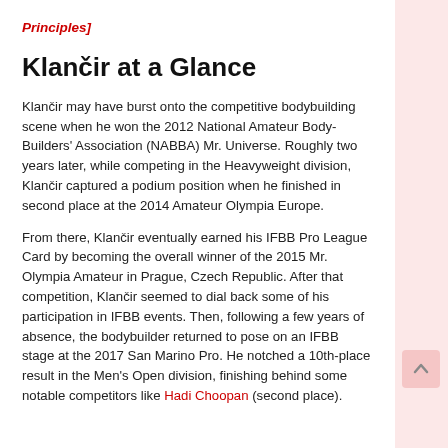Principles]
Klančir at a Glance
Klančir may have burst onto the competitive bodybuilding scene when he won the 2012 National Amateur Body-Builders' Association (NABBA) Mr. Universe. Roughly two years later, while competing in the Heavyweight division, Klančir captured a podium position when he finished in second place at the 2014 Amateur Olympia Europe.
From there, Klančir eventually earned his IFBB Pro League Card by becoming the overall winner of the 2015 Mr. Olympia Amateur in Prague, Czech Republic. After that competition, Klančir seemed to dial back some of his participation in IFBB events. Then, following a few years of absence, the bodybuilder returned to pose on an IFBB stage at the 2017 San Marino Pro. He notched a 10th-place result in the Men's Open division, finishing behind some notable competitors like Hadi Choopan (second place).